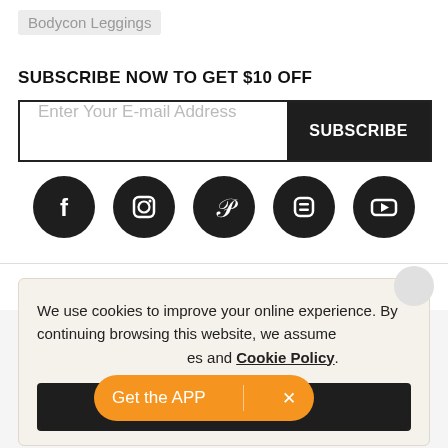Bodycon Leggings
SUBSCRIBE NOW TO GET $10 OFF
Enter Your E-mail Address  SUBSCRIBE
[Figure (infographic): Row of 5 social media icons (Facebook, Instagram, Pinterest, Blogger, YouTube) as white icons on black circles]
We use cookies to improve your online experience. By continuing browsing this website, we assume [Get the APP  X] es and Cookie Policy.
Agree